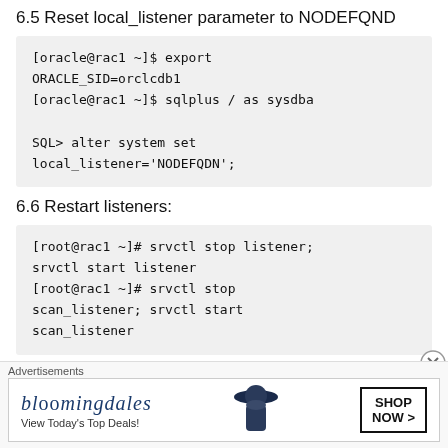6.5 Reset local_listener parameter to NODEFQND
[oracle@rac1 ~]$ export ORACLE_SID=orclcdb1
[oracle@rac1 ~]$ sqlplus / as sysdba

SQL> alter system set local_listener='NODEFQDN';
6.6 Restart listeners:
[root@rac1 ~]# srvctl stop listener; srvctl start listener
[root@rac1 ~]# srvctl stop scan_listener; srvctl start scan_listener
6.7 Add the following entries to the /etc/...
Advertisements
[Figure (other): Bloomingdale's advertisement banner: bloomingdales logo, 'View Today's Top Deals!', and a SHOP NOW > button with an image of a woman in a hat]